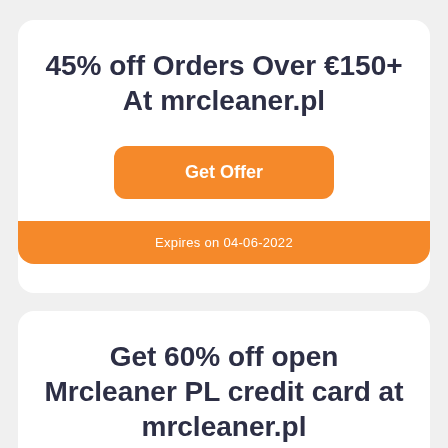45% off Orders Over €150+ At mrcleaner.pl
Get Offer
Expires on 04-06-2022
Get 60% off open Mrcleaner PL credit card at mrcleaner.pl